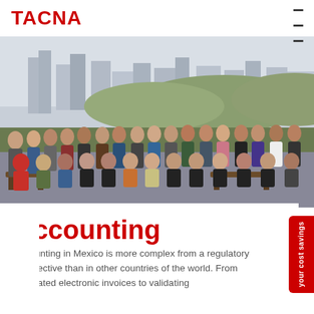TACNA
[Figure (photo): Group photo of approximately 30 TACNA accounting employees posing on a rooftop terrace with a city skyline and hills in the background. People are arranged in two rows, some seated and some standing.]
Accounting
Accounting in Mexico is more complex from a regulatory perspective than in other countries of the world. From mandated electronic invoices to validating